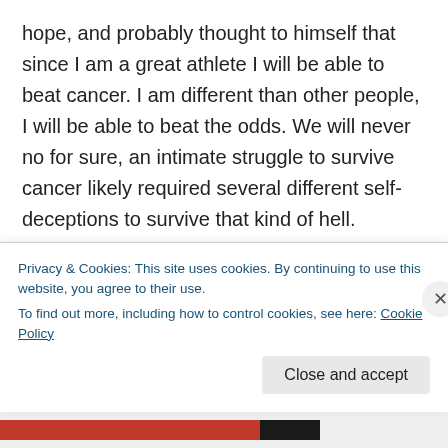hope, and probably thought to himself that since I am a great athlete I will be able to beat cancer. I am different than other people, I will be able to beat the odds. We will never no for sure, an intimate struggle to survive cancer likely required several different self-deceptions to survive that kind of hell.

Can we forgive Lance Armstrong? It is very hard to forgive a person who lied, cheated, and used
Privacy & Cookies: This site uses cookies. By continuing to use this website, you agree to their use.
To find out more, including how to control cookies, see here: Cookie Policy